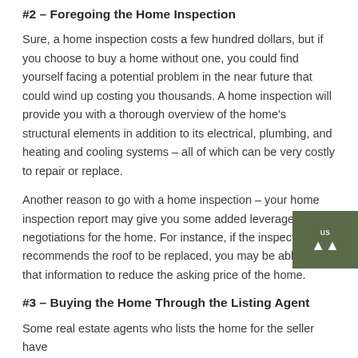#2 – Foregoing the Home Inspection
Sure, a home inspection costs a few hundred dollars, but if you choose to buy a home without one, you could find yourself facing a potential problem in the near future that could wind up costing you thousands. A home inspection will provide you with a thorough overview of the home's structural elements in addition to its electrical, plumbing, and heating and cooling systems – all of which can be very costly to repair or replace.
Another reason to go with a home inspection – your home inspection report may give you some added leverage in the negotiations for the home. For instance, if the inspection recommends the roof to be replaced, you may be able to use that information to reduce the asking price of the home.
#3 – Buying the Home Through the Listing Agent
Some real estate agents who lists the home for the seller have